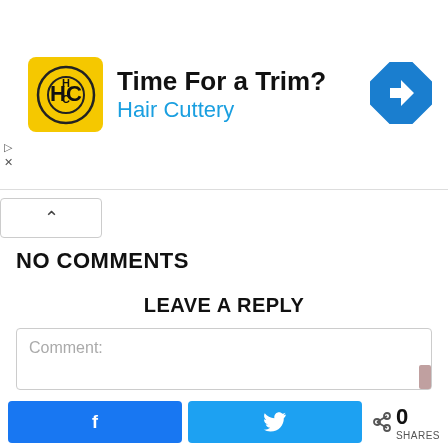[Figure (screenshot): Advertisement banner for Hair Cuttery with yellow logo, headline 'Time For a Trim?', brand name 'Hair Cuttery' in blue, and a blue diamond direction arrow icon on the right.]
NO COMMENTS
LEAVE A REPLY
Comment:
[Figure (screenshot): Bottom social sharing bar with Facebook share button, Twitter share button, share icon, count '0', and label 'SHARES'.]